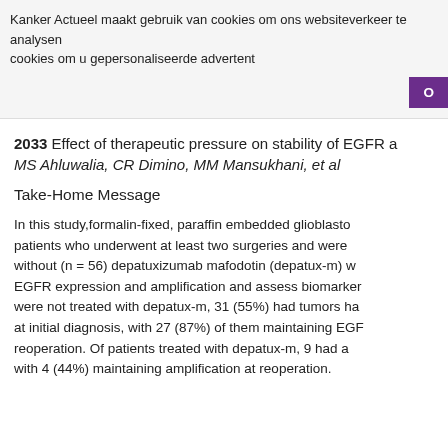Kanker Actueel maakt gebruik van cookies om ons websiteverkeer te analysen cookies om u gepersonaliseerde advertent
2033 Effect of therapeutic pressure on stability of EGFR a MS Ahluwalia, CR Dimino, MM Mansukhani, et al
Take-Home Message
In this study,formalin-fixed, paraffin embedded glioblasto patients who underwent at least two surgeries and were without (n = 56) depatuxizumab mafodotin (depatux-m) w EGFR expression and amplification and assess biomarker were not treated with depatux-m, 31 (55%) had tumors ha at initial diagnosis, with 27 (87%) of them maintaining EGF reoperation. Of patients treated with depatux-m, 9 had a with 4 (44%) maintaining amplification at reoperation.